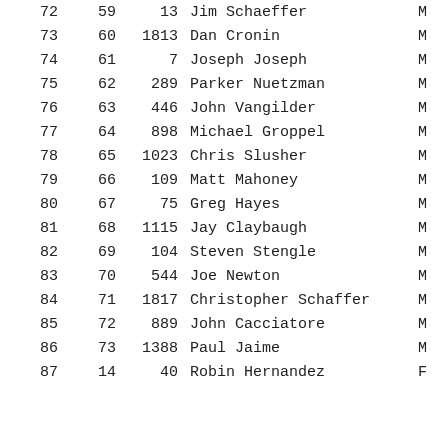|  |  |  | Name |  |
| --- | --- | --- | --- | --- |
| 72 | 59 | 13 | Jim Schaeffer | M |
| 73 | 60 | 1813 | Dan Cronin | M |
| 74 | 61 | 7 | Joseph Joseph | M |
| 75 | 62 | 289 | Parker Nuetzman | M |
| 76 | 63 | 446 | John Vangilder | M |
| 77 | 64 | 898 | Michael Groppel | M |
| 78 | 65 | 1023 | Chris Slusher | M |
| 79 | 66 | 109 | Matt Mahoney | M |
| 80 | 67 | 75 | Greg Hayes | M |
| 81 | 68 | 1115 | Jay Claybaugh | M |
| 82 | 69 | 104 | Steven Stengle | M |
| 83 | 70 | 544 | Joe Newton | M |
| 84 | 71 | 1817 | Christopher Schaffer | M |
| 85 | 72 | 889 | John Cacciatore | M |
| 86 | 73 | 1388 | Paul Jaime | M |
| 87 | 14 | 40 | Robin Hernandez | F |